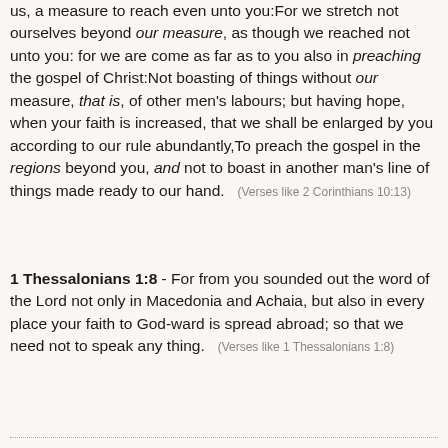us, a measure to reach even unto you:For we stretch not ourselves beyond our measure, as though we reached not unto you: for we are come as far as to you also in preaching the gospel of Christ:Not boasting of things without our measure, that is, of other men's labours; but having hope, when your faith is increased, that we shall be enlarged by you according to our rule abundantly,To preach the gospel in the regions beyond you, and not to boast in another man's line of things made ready to our hand.   (Verses like 2 Corinthians 10:13)
1 Thessalonians 1:8 - For from you sounded out the word of the Lord not only in Macedonia and Achaia, but also in every place your faith to God-ward is spread abroad; so that we need not to speak any thing.   (Verses like 1 Thessalonians 1:8)